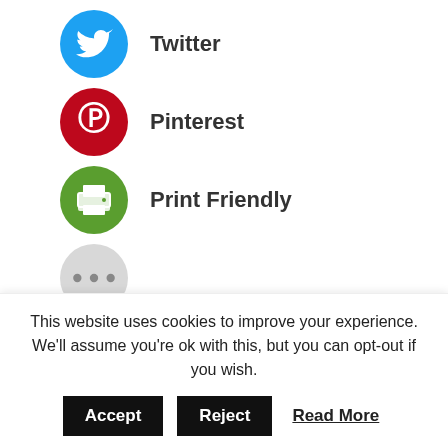Twitter
Pinterest
Print Friendly
...
Writing Tips by Category
[Figure (other): Scroll to top button with upward arrow chevron, grey background]
This website uses cookies to improve your experience. We'll assume you're ok with this, but you can opt-out if you wish.
Accept   Reject   Read More